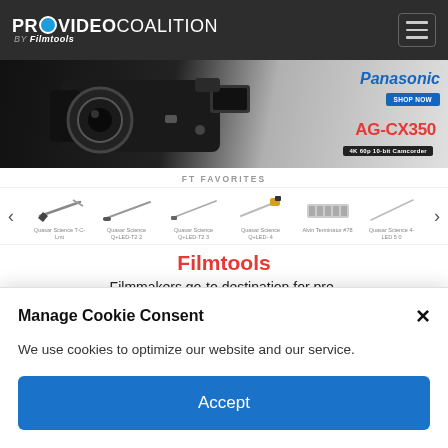[Figure (screenshot): ProVideo Coalition by Filmtools navigation header with logo and hamburger menu on dark background]
[Figure (photo): Panasonic AG-CX350 4K 60p 10-bit Camcorder advertisement banner with camera image]
FT FAVORITES
[Figure (screenshot): Product carousel showing Quasar Science lighting products and Alvin Terminator with left/right navigation arrows]
Filmtools
Filmmakers go-to destination for pre-production, production & post production
Manage Cookie Consent
We use cookies to optimize our website and our service.
Accept